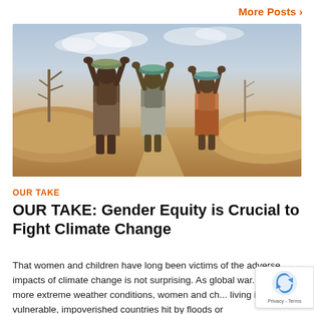More Posts >
[Figure (photo): Three women carrying large containers on their heads walking along a dirt road in an arid, drought-affected landscape with sparse trees and sandy soil mounds in the background.]
OUR TAKE
OUR TAKE: Gender Equity is Crucial to Fight Climate Change
That women and children have long been victims of the adverse impacts of climate change is not surprising. As global war... creates more extreme weather conditions, women and ch... living in vulnerable, impoverished countries hit by floods or